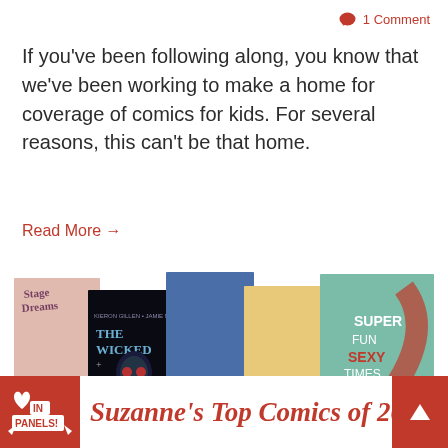1 Comment
If you've been following along, you know that we've been working to make a home for coverage of comics for kids. For several reasons, this can't be that home.
Read More →
[Figure (illustration): A horizontal strip of five graphic novel/comic book covers: Stage Dreams, The Wicked + The Divine, Letters for Lucardo, Mooncakes, Super Fun Sexy Times]
[Figure (logo): In Panels logo — red square with heart and panels text]
Suzanne's Top Comics of 20